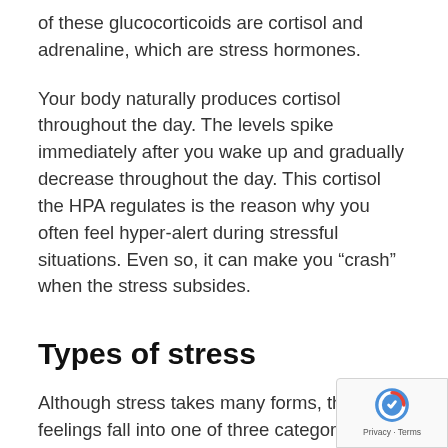of these glucocorticoids are cortisol and adrenaline, which are stress hormones.
Your body naturally produces cortisol throughout the day. The levels spike immediately after you wake up and gradually decrease throughout the day. This cortisol the HPA regulates is the reason why you often feel hyper-alert during stressful situations. Even so, it can make you “crash” when the stress subsides.
Types of stress
Although stress takes many forms, these feelings fall into one of three categories:
Acute stress. This type of short-term stress usually accompanies fleeting moments of panic or